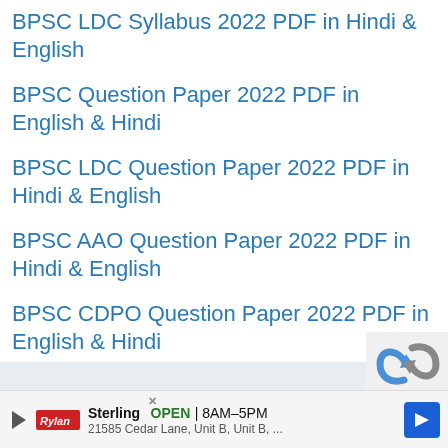BPSC LDC Syllabus 2022 PDF in Hindi & English
BPSC Question Paper 2022 PDF in English & Hindi
BPSC LDC Question Paper 2022 PDF in Hindi & English
BPSC AAO Question Paper 2022 PDF in Hindi & English
BPSC CDPO Question Paper 2022 PDF in English & Hindi
BPSC CDPO Syllabus 2022 PDF in Hindi & English
[Figure (screenshot): reCAPTCHA widget partial view shown in bottom-right corner]
Sterling  OPEN  8AM–5PM  21585 Cedar Lane, Unit B, Unit B, ...